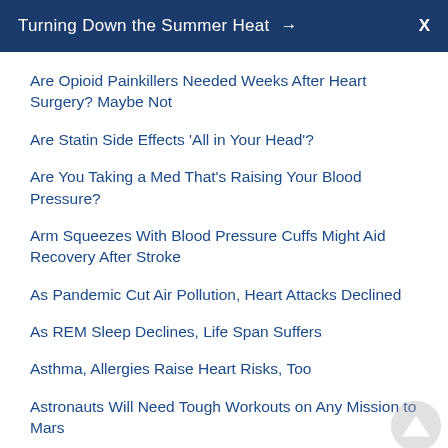Turning Down the Summer Heat → X
Are Opioid Painkillers Needed Weeks After Heart Surgery? Maybe Not
Are Statin Side Effects 'All in Your Head'?
Are You Taking a Med That's Raising Your Blood Pressure?
Arm Squeezes With Blood Pressure Cuffs Might Aid Recovery After Stroke
As Pandemic Cut Air Pollution, Heart Attacks Declined
As REM Sleep Declines, Life Span Suffers
Asthma, Allergies Raise Heart Risks, Too
Astronauts Will Need Tough Workouts on Any Mission to Mars
At High Doses, Popular Biotin Supplement Could